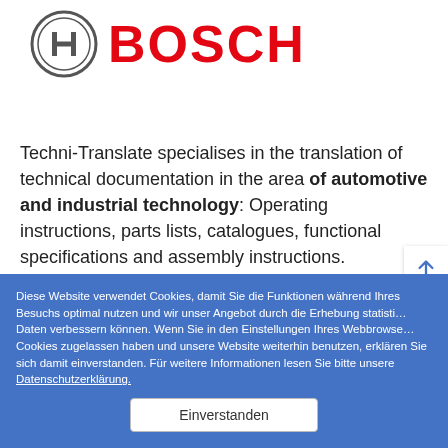[Figure (logo): Bosch logo: circular icon with stylized H and the word BOSCH in red bold letters]
Techni-Translate specialises in the translation of technical documentation in the area of automotive and industrial technology: Operating instructions, parts lists, catalogues, functional specifications and assembly instructions.
Diese Website verwendet Cookies, damit Sie die Funktionen während Ihres Besuchs optimal nutzen und wir unser Angebot durch die Erhebung statistischer Daten verbessern können. Wenn Sie in den Einstellungen Ihres Webbrowsers Cookies zugelassen haben und unsere Website weiterhin benutzen, erklären Sie sich damit einverstanden. Für weitere Informationen lesen Sie bitte unsere Datenschutzerklärung.